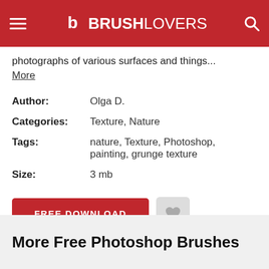BRUSHLOVERS
photographs of various surfaces and things...
More
| Author: | Olga D. |
| Categories: | Texture, Nature |
| Tags: | nature, Texture, Photoshop, painting, grunge texture |
| Size: | 3 mb |
FREE DOWNLOAD
More Free Photoshop Brushes